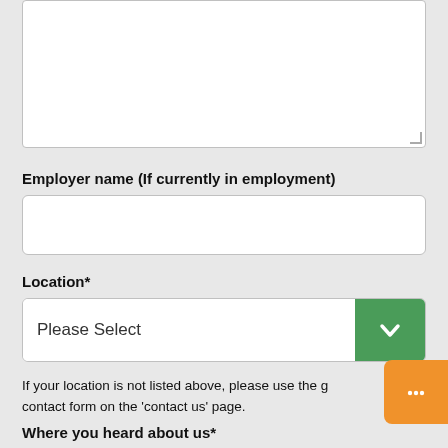[Figure (other): Empty textarea input box with resize handle in bottom-right corner]
Employer name (If currently in employment)
[Figure (other): Empty single-line text input box]
Location*
[Figure (other): Dropdown select input showing 'Please Select' with green chevron button on right]
If your location is not listed above, please use the g contact form on the 'contact us' page.
Where you heard about us*